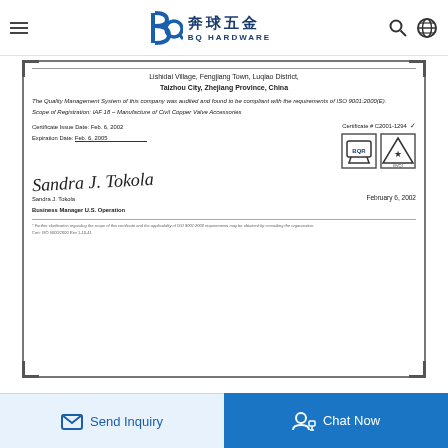BQ HARDWARE — 奔球五金 — navigation bar with hamburger menu, search, and globe icons
[Figure (other): ISO 9001:2000 certificate for a company at Lishidai Village, Fengjiang Town, Luqiao District, Taizhou City, Zhejiang Province, China. Certificate shows audit compliance, scope IAF 18 – Manufacture of Civil Copper Valve Accessories, issue date Feb. 6, 2002, expiration Feb. 6, 2005, Certificate # C2001-1294, signed by Sandra J. Tokola, Business Manager U.S. Operation. Contains BQR and BVQi logos.]
Send Inquiry
Chat Now